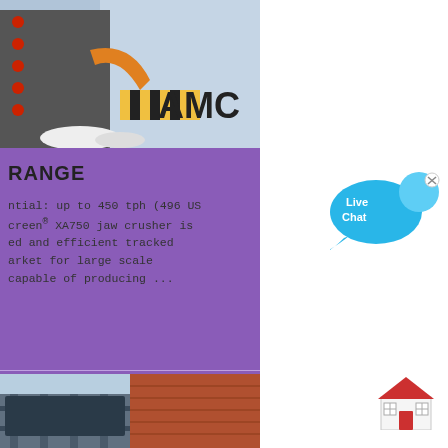[Figure (photo): Industrial jaw crusher machine with AMC logo visible, orange and grey equipment in a factory setting]
RANGE
ntial: up to 450 tph (496 US
creen® XA750 jaw crusher is
ed and efficient tracked
arket for large scale
capable of producing ...
[Figure (photo): Construction site image showing structural framework or conveyor at a demolition/building site]
[Figure (illustration): Live Chat speech bubble icon in blue with an 'x' close button]
[Figure (illustration): Red house/home icon]